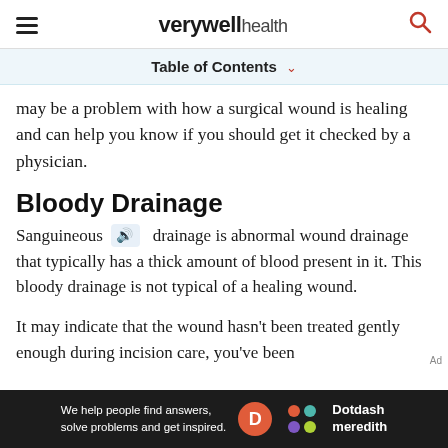verywell health
Table of Contents
may be a problem with how a surgical wound is healing and can help you know if you should get it checked by a physician.
Bloody Drainage
Sanguineous drainage is abnormal wound drainage that typically has a thick amount of blood present in it. This bloody drainage is not typical of a healing wound.
It may indicate that the wound hasn't been treated gently enough during incision care, you've been
[Figure (infographic): Dotdash Meredith advertisement banner: 'We help people find answers, solve problems and get inspired.' with D logo and colorful dots logo]